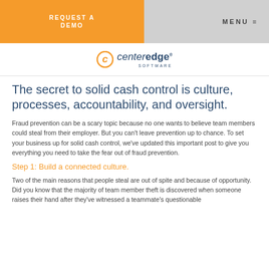REQUEST A DEMO | MENU ≡
[Figure (logo): CenterEdge Software logo with circular C icon]
The secret to solid cash control is culture, processes, accountability, and oversight.
Fraud prevention can be a scary topic because no one wants to believe team members could steal from their employer. But you can't leave prevention up to chance. To set your business up for solid cash control, we've updated this important post to give you everything you need to take the fear out of fraud prevention.
Step 1: Build a connected culture.
Two of the main reasons that people steal are out of spite and because of opportunity. Did you know that the majority of team member theft is discovered when someone raises their hand after they've witnessed a teammate's questionable